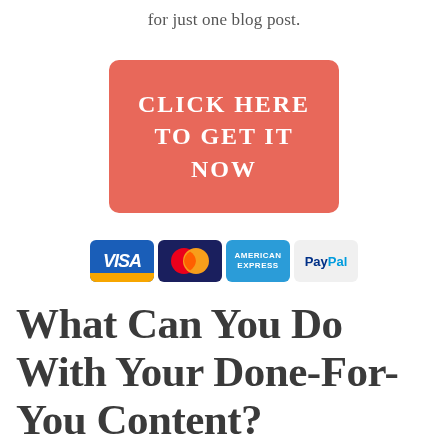for just one blog post.
[Figure (other): Red/coral rounded rectangle button with white text: CLICK HERE TO GET IT NOW]
[Figure (other): Payment method logos: VISA, MasterCard, American Express, PayPal]
What Can You Do With Your Done-For-You Content?